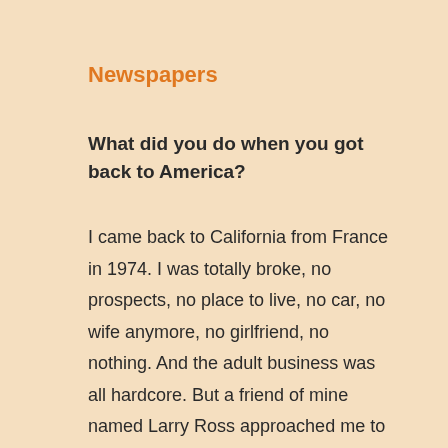Newspapers
What did you do when you got back to America?
I came back to California from France in 1974. I was totally broke, no prospects, no place to live, no car, no wife anymore, no girlfriend, no nothing. And the adult business was all hardcore. But a friend of mine named Larry Ross approached me to work with him. Larry had this girlie magazine empire, and he also put out a couple of sex newspapers. One was called San Francisco Ball – it was